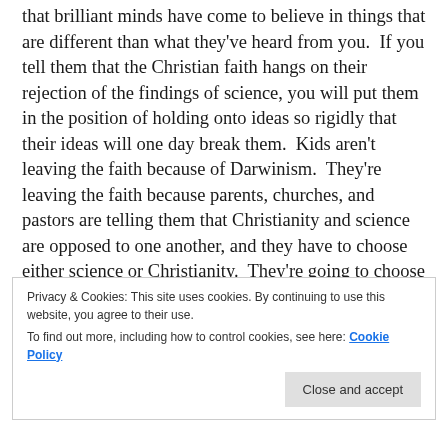that brilliant minds have come to believe in things that are different than what they've heard from you.  If you tell them that the Christian faith hangs on their rejection of the findings of science, you will put them in the position of holding onto ideas so rigidly that their ideas will one day break them.  Kids aren't leaving the faith because of Darwinism.  They're leaving the faith because parents, churches, and pastors are telling them that Christianity and science are opposed to one another, and they have to choose either science or Christianity.  They're going to choose the one that is most serious about the pursuit of truth.
Privacy & Cookies: This site uses cookies. By continuing to use this website, you agree to their use. To find out more, including how to control cookies, see here: Cookie Policy